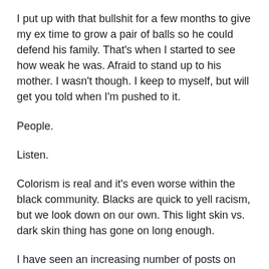I put up with that bullshit for a few months to give my ex time to grow a pair of balls so he could defend his family. That's when I started to see how weak he was.  Afraid to stand up to his mother.  I wasn't though.  I keep to myself, but will get you told when I'm pushed to it.
People.
Listen.
Colorism is real and it's even worse within the black community.  Blacks are quick to yell racism, but we look down on our own.  This light skin vs. dark skin thing has gone on long enough.
I have seen an increasing number of posts on social media about colorism over the past couple weeks.  Sometimes I comment, other times I scroll past because I get angry all